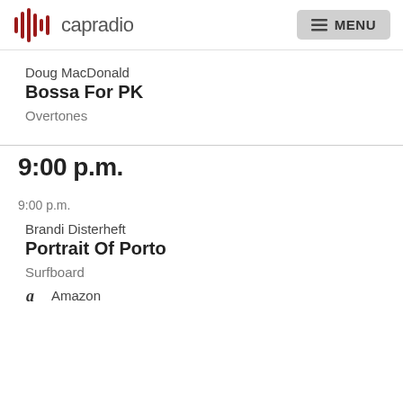capradio MENU
Doug MacDonald
Bossa For PK
Overtones
9:00 p.m.
9:00 p.m.
Brandi Disterheft
Portrait Of Porto
Surfboard
Amazon